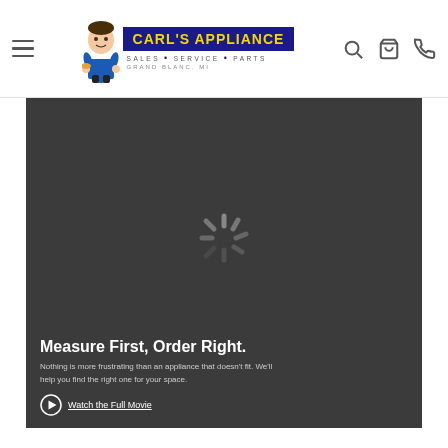Carl's Appliance — Sales • Service • Parts — Grand Blanc, MI
[Figure (screenshot): Dark video player area with loading spinner (spinning wheel icon) in the center, overlaid on a dark gray background]
Measure First, Order Right.
Nothing is more frustrating than an appliance that doesn't fit. We'll help you find the right one for your space.
Watch the Full Movie